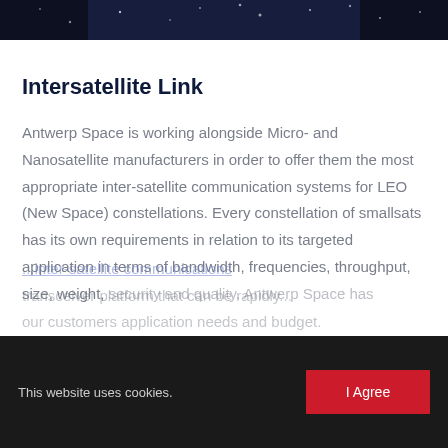[Figure (photo): Dark space/night sky image banner at top of page]
Intersatellite Link
Antwerp Space is working alongside Micro- and Nanosatellite manufacturers in order to offer them the most appropriate inter-satellite communication systems for LEO (New Space) constellations. Every constellation of smallsats has its own requirements in relation to its targeted application in terms of bandwidth, frequencies, throughput, size, weight, security and quality. Antwerp Space has ... inter-satellite communications transceiver platform that can be rapidly ... our customers application needs and budget.
This website uses cookies.